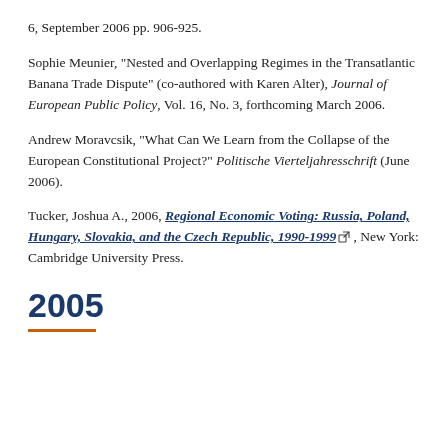6, September 2006 pp. 906-925.
Sophie Meunier, "Nested and Overlapping Regimes in the Transatlantic Banana Trade Dispute" (co-authored with Karen Alter), Journal of European Public Policy, Vol. 16, No. 3, forthcoming March 2006.
Andrew Moravcsik, "What Can We Learn from the Collapse of the European Constitutional Project?" Politische Vierteljahresschrift (June 2006).
Tucker, Joshua A., 2006, Regional Economic Voting: Russia, Poland, Hungary, Slovakia, and the Czech Republic, 1990-1999 [link], New York: Cambridge University Press.
2005